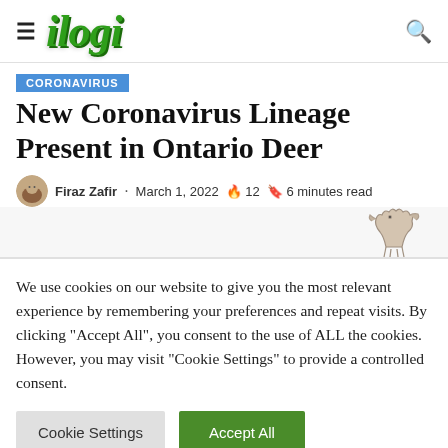ilogi
CORONAVIRUS
New Coronavirus Lineage Present in Ontario Deer
Firaz Zafir · March 1, 2022 🔥 12 🔖 6 minutes read
We use cookies on our website to give you the most relevant experience by remembering your preferences and repeat visits. By clicking "Accept All", you consent to the use of ALL the cookies. However, you may visit "Cookie Settings" to provide a controlled consent.